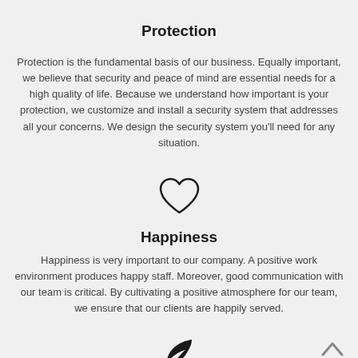Protection
Protection is the fundamental basis of our business. Equally important, we believe that security and peace of mind are essential needs for a high quality of life. Because we understand how important is your protection, we customize and install a security system that addresses all your concerns. We design the security system you'll need for any situation.
[Figure (illustration): Heart outline icon]
Happiness
Happiness is very important to our company. A positive work environment produces happy staff. Moreover, good communication with our team is critical. By cultivating a positive atmosphere for our team, we ensure that our clients are happily served.
[Figure (illustration): Leaf icon (feather/eco)]